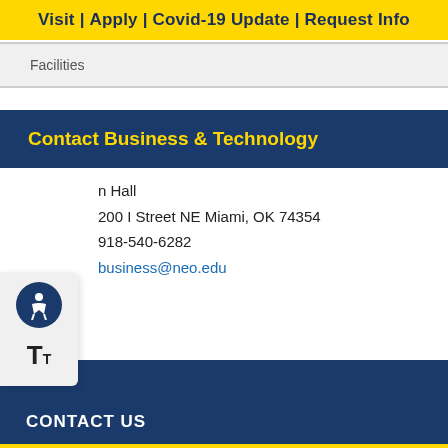Visit | Apply | Covid-19 Update | Request Info
Facilities
Contact Business & Technology
n Hall
200 I Street NE Miami, OK 74354
918-540-6282
business@neo.edu
CONTACT US